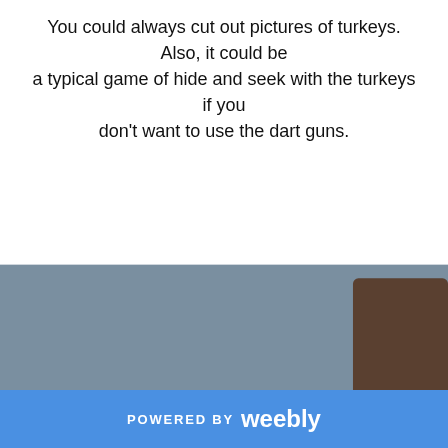You could always cut out pictures of turkeys. Also, it could be a typical game of hide and seek with the turkeys if you don't want to use the dart guns.
[Figure (photo): Two young children holding large yellow Nerf dart guns. One child wears a red shirt with 'Thing 2' printed on it and has blonde curly hair. The other child wears a dark shirt and glasses. They are posing in an indoor setting on carpet.]
POWERED BY weebly